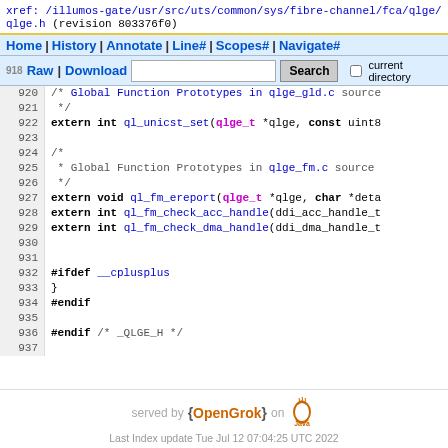xref: /illumos-gate/usr/src/uts/common/sys/fibre-channel/fca/qlge/qlge.h (revision 803376f0)
Home | History | Annotate | Line# | Scopes# | Navigate#
Raw | Download [search box] Search | current directory
920  /* Global Function Prototypes in qlge_gld.c source
921   */
922      extern int ql_unicst_set(qlge_t *qlge, const uint8...
923  
924      /*
925       * Global Function Prototypes in qlge_fm.c source
926       */
927      extern void ql_fm_ereport(qlge_t *qlge, char *deta...
928      extern int ql_fm_check_acc_handle(ddi_acc_handle_t...
929      extern int ql_fm_check_dma_handle(ddi_dma_handle_t...
930  
931  
932      #ifdef __cplusplus
933      }
934      #endif
935  
936      #endif /* _QLGE_H */
937
served by {OpenGrok} on Java
Last Index update Tue Jul 12 07:04:25 UTC 2022